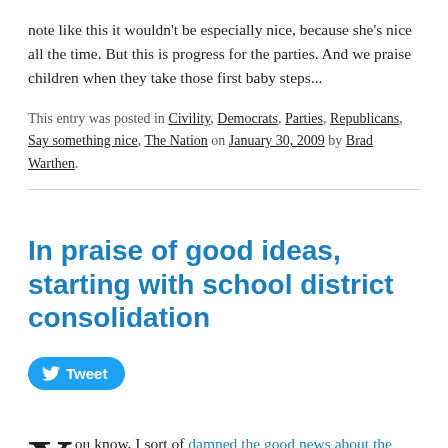note like this it wouldn't be especially nice, because she's nice all the time. But this is progress for the parties. And we praise children when they take those first baby steps...
This entry was posted in Civility, Democrats, Parties, Republicans, Say something nice, The Nation on January 30, 2009 by Brad Warthen.
In praise of good ideas, starting with school district consolidation
Tweet
You know, I sort of damned the good news about the